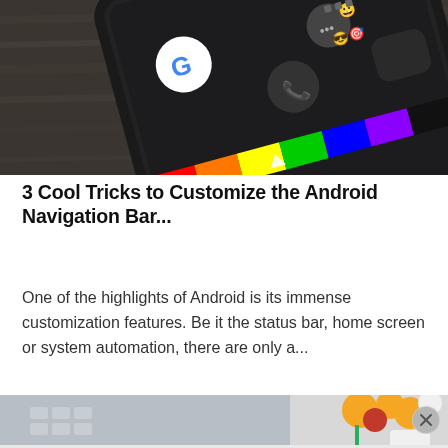[Figure (photo): Close-up photo of a black Android smartphone showing home screen with Google icon, phone dialer icon, colorful navigation bar with rainbow gradient, emoji icons, and fingerprint reader on a dark wood surface]
3 Cool Tricks to Customize the Android Navigation Bar...
One of the highlights of Android is its immense customization features. Be it the status bar, home screen or system automation, there are only a...
[Figure (photo): Partial photo of a laptop and tablet on a light surface with flowers in the background (yellow and pink), partially visible]